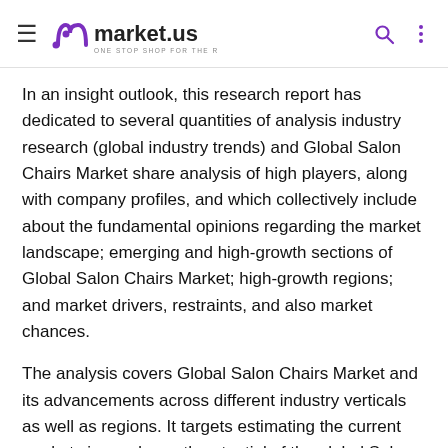market.us — ONE STOP SHOP FOR THE REPORTS
In an insight outlook, this research report has dedicated to several quantities of analysis industry research (global industry trends) and Global Salon Chairs Market share analysis of high players, along with company profiles, and which collectively include about the fundamental opinions regarding the market landscape; emerging and high-growth sections of Global Salon Chairs Market; high-growth regions; and market drivers, restraints, and also market chances.
The analysis covers Global Salon Chairs Market and its advancements across different industry verticals as well as regions. It targets estimating the current market size and growth potential of the global Salon Chairs Market across sections